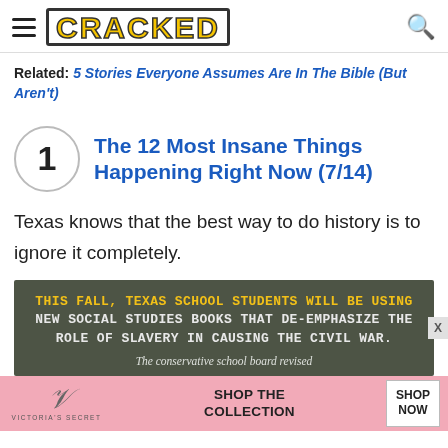CRACKED
Related: 5 Stories Everyone Assumes Are In The Bible (But Aren't)
1 — The 12 Most Insane Things Happening Right Now (7/14)
Texas knows that the best way to do history is to ignore it completely.
[Figure (infographic): Dark olive green background ad image with bold monospace text in yellow and white reading: THIS FALL, TEXAS SCHOOL STUDENTS WILL BE USING NEW SOCIAL STUDIES BOOKS THAT DE-EMPHASIZE THE ROLE OF SLAVERY IN CAUSING THE CIVIL WAR. The conservative school board revised]
[Figure (infographic): Victoria's Secret pink banner ad with VS logo, text SHOP THE COLLECTION, and SHOP NOW button]